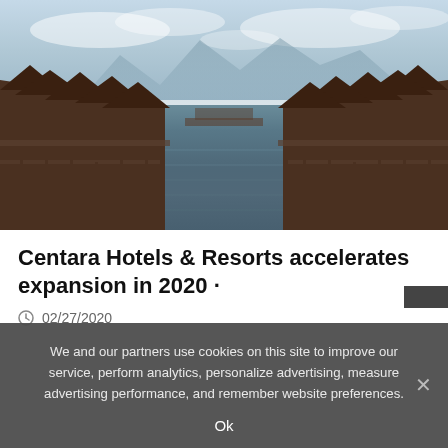[Figure (photo): Overwater bungalows on stilts lining a calm waterway, with mountains in the background and cloudy sky — a tropical resort setting.]
Centara Hotels & Resorts accelerates expansion in 2020 ·
02/27/2020
We and our partners use cookies on this site to improve our service, perform analytics, personalize advertising, measure advertising performance, and remember website preferences.
Ok